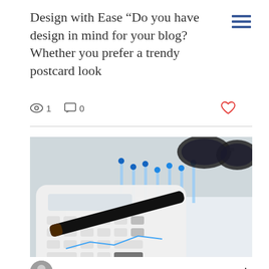Design with Ease “Do you have design in mind for your blog? Whether you prefer a trendy postcard look
[Figure (infographic): Menu icon with three horizontal blue lines]
1   0
[Figure (photo): A white calculator with a black pen resting on financial charts/graphs, with glasses in the background]
Aug 17, 2018 · 1 min